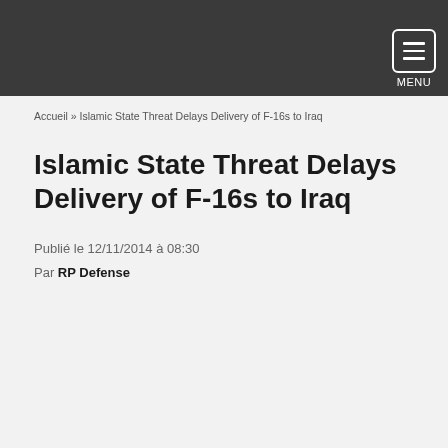MENU
Accueil » Islamic State Threat Delays Delivery of F-16s to Iraq
Islamic State Threat Delays Delivery of F-16s to Iraq
Publié le 12/11/2014 à 08:30
Par RP Defense